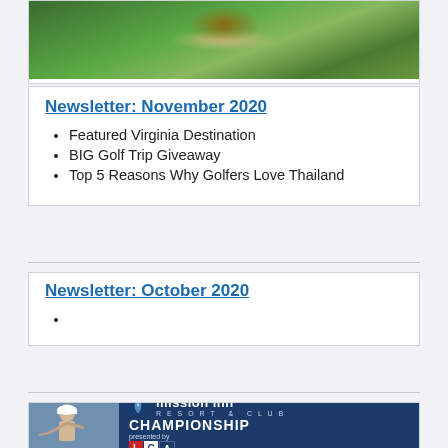[Figure (photo): Aerial view of a golf course and resort building surrounded by green trees]
Newsletter: November 2020
Featured Virginia Destination
BIG Golf Trip Giveaway
Top 5 Reasons Why Golfers Love Thailand
Newsletter: October 2020
[Figure (photo): Mission Inn Resort & Club Championship banner with female golfer and LCA logo]